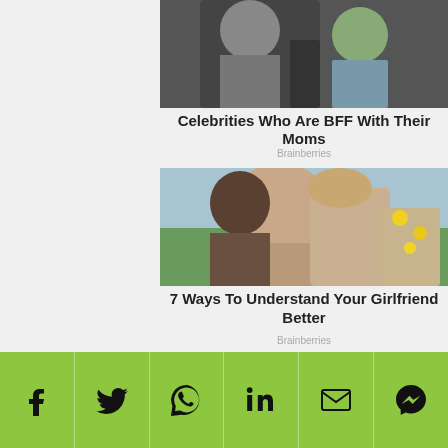[Figure (photo): Two people kissing or embracing closely, one in a suit, partial view]
Celebrities Who Are BFF With Their Moms
Brainberries
[Figure (photo): A woman with long brown hair hugging a man from behind, outdoor setting with yellow flowers]
7 Ways To Understand Your Girlfriend Better
Brainberries
[Figure (photo): A young man with blonde hair wearing a black mask, next to a yellow car]
[Figure (infographic): Green social sharing bar with icons: Facebook, Twitter, WhatsApp, LinkedIn, Email, Messenger]